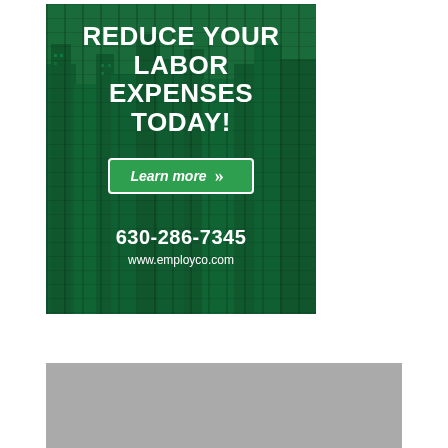[Figure (infographic): Green-tinted city skyline advertisement banner for Employco. Contains bold white text 'REDUCE YOUR LABOR EXPENSES TODAY!', a green 'Learn more' button with arrow, phone number 630-286-7345, and website www.employco.com.]
[Figure (photo): Gray placeholder image box at the bottom of the page.]